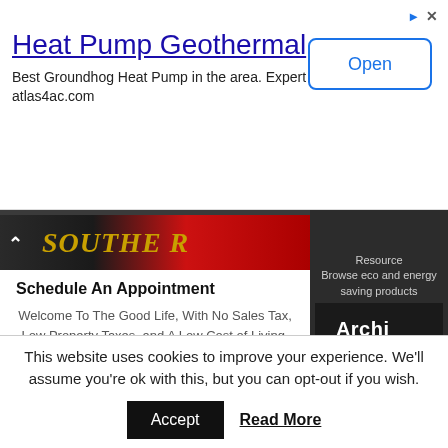[Figure (screenshot): Top advertisement banner for Heat Pump Geothermal with Open button]
Heat Pump Geothermal
Best Groundhog Heat Pump in the area. Expert Services atlas4ac.com
[Figure (screenshot): Middle section with dark background showing left popup card and right ArchiExpo ad]
Schedule An Appointment
Welcome To The Good Life, With No Sales Tax, Low Property Taxes, and A Low Cost of Living.
Resource
Browse eco and energy saving products
[Figure (screenshot): ArchiExpo logo on dark background]
[Figure (screenshot): Delaware Is a Retirement Oasis advertisement]
Delaware Is a Retirement Oasis
Single-Family Homes with a Rehoboth Address, Just Minutes from Shopping and Beaches.
This website uses cookies to improve your experience. We'll assume you're ok with this, but you can opt-out if you wish.